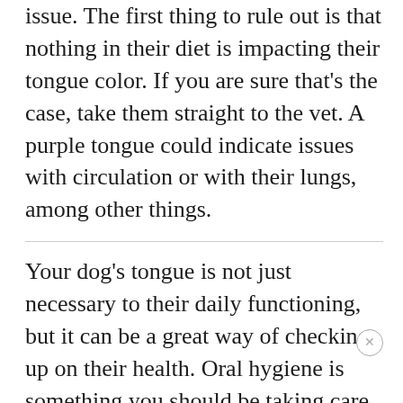issue. The first thing to rule out is that nothing in their diet is impacting their tongue color. If you are sure that's the case, take them straight to the vet. A purple tongue could indicate issues with circulation or with their lungs, among other things.
Your dog's tongue is not just necessary to their daily functioning, but it can be a great way of checking up on their health. Oral hygiene is something you should be taking care of for your pup on a regular basis. While you are there, it's a good idea to check on any changes in the color, size, or general appearance of their tongue (as well as their teeth and gums).